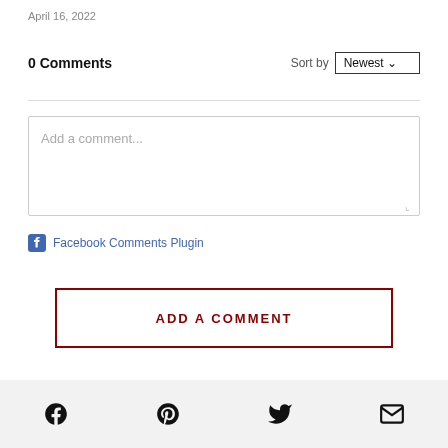April 16, 2022
0 Comments
Sort by Newest
Add a comment...
Facebook Comments Plugin
ADD A COMMENT
[Figure (other): Footer with social media icons: Facebook, Pinterest, Twitter, Email]